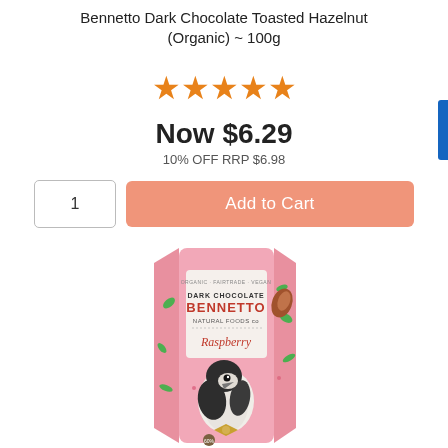Bennetto Dark Chocolate Toasted Hazelnut (Organic) ~ 100g
★★★★★
Now $6.29
10% OFF RRP $6.98
1   Add to Cart
[Figure (photo): Bennetto Dark Chocolate bar in pink packaging with a bird illustration, showing ORGANIC FAIRTRADE VEGAN, DARK CHOCOLATE BENNETTO NATURAL FOODS co, Raspberry label, and 60% text at bottom]